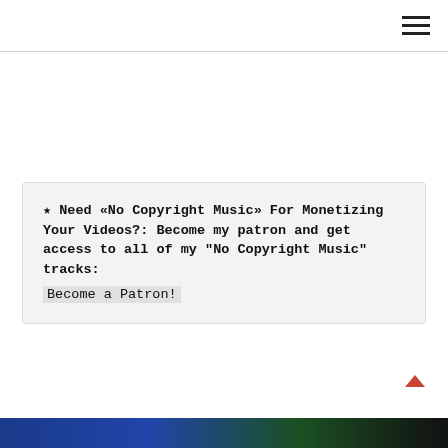[hamburger menu icon]
★ Need «No Copyright Music» For Monetizing Your Videos?: Become my patron and get access to all of my "No Copyright Music" tracks: Become a Patron!